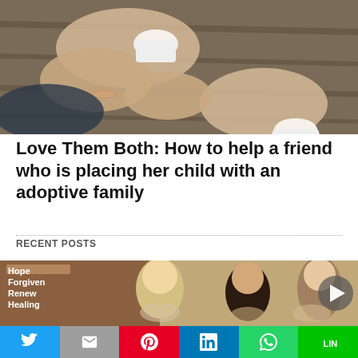[Figure (photo): Two people sitting at a wooden table holding white cups/mugs, a cozy coffee meeting scene viewed from above]
Love Them Both: How to help a friend who is placing her child with an adoptive family
RECENT POSTS
[Figure (photo): Three women smiling in front of a banner reading Hope, Forgiven, Renew, Healing. A play button overlay is visible on the right side.]
Social share bar: Twitter, Gmail/Email, Pinterest, LinkedIn, WhatsApp, LINE